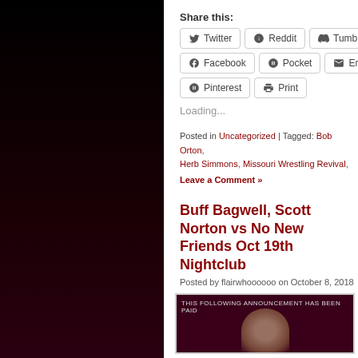Share this:
Twitter | Reddit | Tumblr | Facebook | Pocket | Email | Pinterest | Print
Loading...
Posted in Uncategorized | Tagged: Bob Orton, Herb Simmons, Missouri Wrestling Revival,
Leave a Comment »
Buff Bagwell, Scott Norton vs No New Friends Oct 19th Nightclub
Posted by flairwhoooooo on October 8, 2018
[Figure (photo): A dark image with text overlay reading 'THIS FOLLOWING ANNOUNCEMENT HAS BEEN PAID' and a person's face visible below]